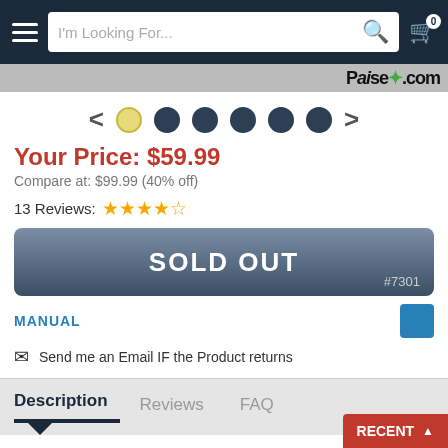[Figure (screenshot): Website navigation bar with hamburger menu, search box, and cart icon]
[Figure (screenshot): Carousel dot navigation with left/right arrows and 6 dots (first dot highlighted)]
Your Price: $59.99
Compare at: $99.99 (40% off)
13 Reviews: ★★★★☆
SOLD OUT #7301
MANUAL
Send me an Email IF the Product returns
Description
Reviews
FAQ
This belt driven 3-speed turntable will play all your favorite vinyl records and more. You can even use the front-mounted auxiliary input jack for connecting your smartphone or other d
RECENT ▲